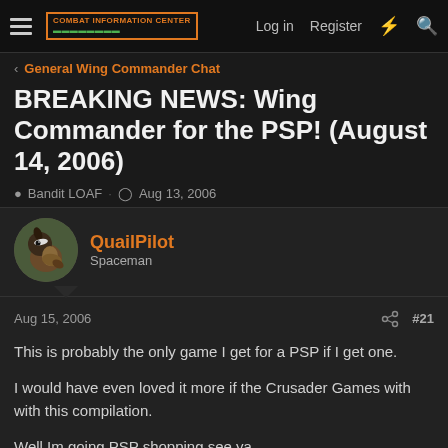Combat Information Center — Log in  Register
< General Wing Commander Chat
BREAKING NEWS: Wing Commander for the PSP! (August 14, 2006)
Bandit LOAF · Aug 13, 2006
QuailPilot
Spaceman
Aug 15, 2006  #21
This is probably the only game I get for a PSP if I get one.
I would have even loved it more if the Crusader Games with with this compilation.
Well Im going PSP shopping see ya.